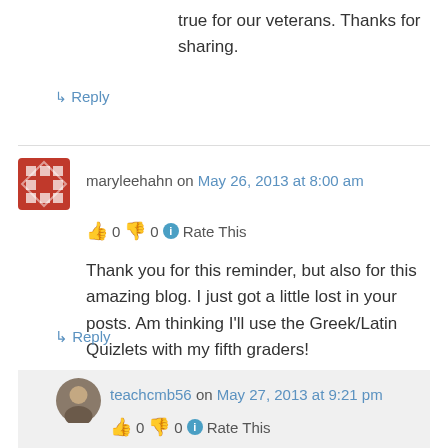true for our veterans. Thanks for sharing.
↳ Reply
maryleehahn on May 26, 2013 at 8:00 am
👍 0 👎 0 ℹ Rate This
Thank you for this reminder, but also for this amazing blog. I just got a little lost in your posts. Am thinking I'll use the Greek/Latin Quizlets with my fifth graders!
↳ Reply
teachcmb56 on May 27, 2013 at 9:21 pm
👍 0 👎 0 ℹ Rate This